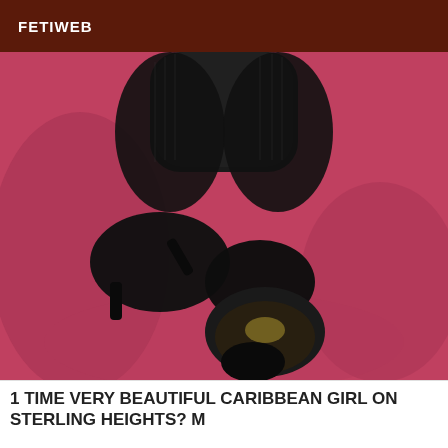FETIWEB
[Figure (photo): Close-up photo of legs wearing black fishnet stockings and black high-heel shoes, crossed over each other, resting on a red/pink textured fabric background. The sole of one shoe is visible facing the camera.]
1 TIME VERY BEAUTIFUL CARIBBEAN GIRL ON STERLING HEIGHTS? M